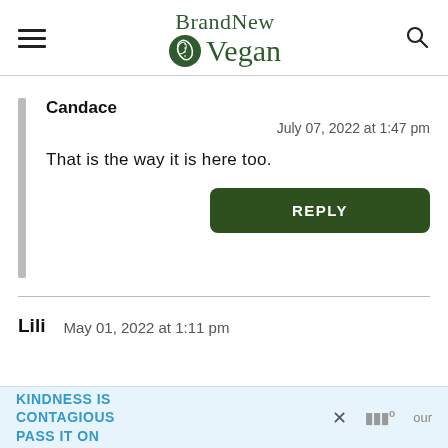BrandNew Vegan
Candace
July 07, 2022 at 1:47 pm
That is the way it is here too.
REPLY
Lili   May 01, 2022 at 1:11 pm
KINDNESS IS CONTAGIOUS PASS IT ON